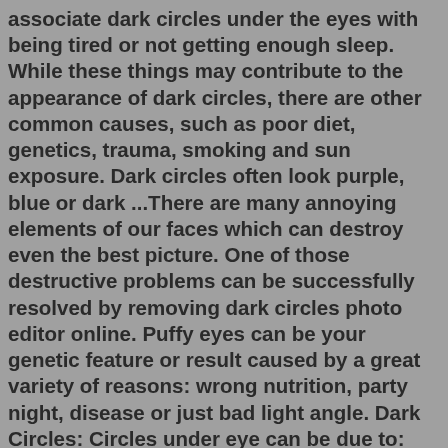associate dark circles under the eyes with being tired or not getting enough sleep. While these things may contribute to the appearance of dark circles, there are other common causes, such as poor diet, genetics, trauma, smoking and sun exposure. Dark circles often look purple, blue or dark ...There are many annoying elements of our faces which can destroy even the best picture. One of those destructive problems can be successfully resolved by removing dark circles photo editor online. Puffy eyes can be your genetic feature or result caused by a great variety of reasons: wrong nutrition, party night, disease or just bad light angle. Dark Circles: Circles under eye can be due to: allergy "allergic shiners", fatigue, genetic variation, aging. Lower lid skin is very thin so blood vessels under skin can make area look dark. Topical creams/fillers can help hide circles: only mask condition with no cure. What helps: drink 8 cups water/day, sunblock, hat, enough rest; avoid ...Answer (1 of 4): Treatment Options for Dark Circles Under the Eyes Try the #1 highest rated skin care line of 2016 Discovery...